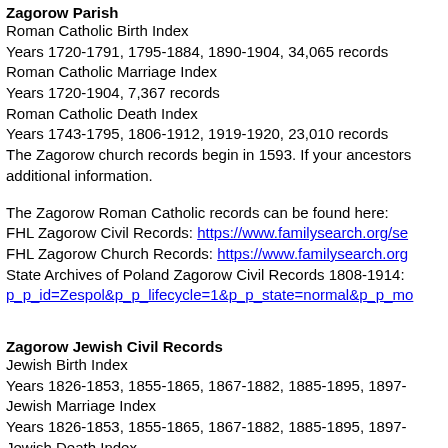Zagorow Parish
Roman Catholic Birth Index
Years 1720-1791, 1795-1884, 1890-1904, 34,065 records
Roman Catholic Marriage Index
Years 1720-1904, 7,367 records
Roman Catholic Death Index
Years 1743-1795, 1806-1912, 1919-1920, 23,010 records
The Zagorow church records begin in 1593. If your ancestors additional information.
The Zagorow Roman Catholic records can be found here:
FHL Zagorow Civil Records: https://www.familysearch.org/se
FHL Zagorow Church Records: https://www.familysearch.org
State Archives of Poland Zagorow Civil Records 1808-1914:
p_p_id=Zespol&p_p_lifecycle=1&p_p_state=normal&p_p_mo
Zagorow Jewish Civil Records
Jewish Birth Index
Years 1826-1853, 1855-1865, 1867-1882, 1885-1895, 1897-
Jewish Marriage Index
Years 1826-1853, 1855-1865, 1867-1882, 1885-1895, 1897-
Jewish Death Index
Years 1826-1853, 1855-1865, 1867-1882, 1885-1895, 1897-